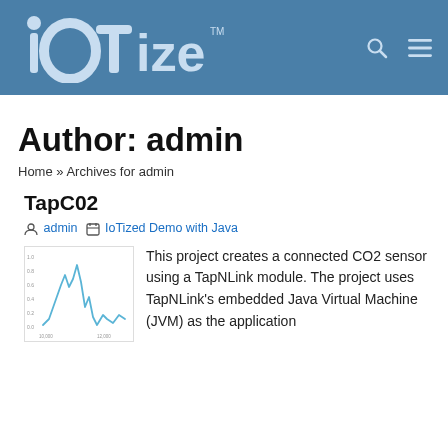[Figure (logo): IOTize logo in white/light blue on dark blue header background]
Author: admin
Home » Archives for admin
TapC02
admin   IoTized Demo with Java
[Figure (line-chart): Small thumbnail line chart showing CO2 sensor data over time]
This project creates a connected CO2 sensor using a TapNLink module. The project uses TapNLink's embedded Java Virtual Machine (JVM) as the application